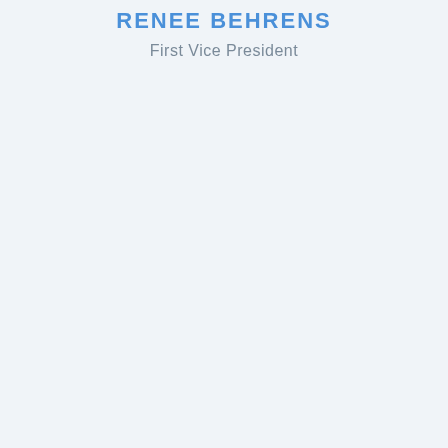RENEE BEHRENS
First Vice President